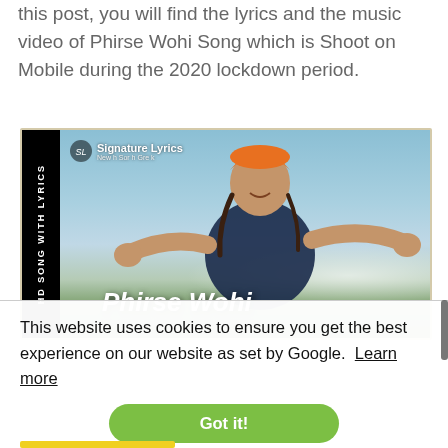this post, you will find the lyrics and the music video of Phirse Wohi Song which is Shoot on Mobile during the 2020 lockdown period.
[Figure (screenshot): Thumbnail image for 'Phirse Wohi' song on Signature Lyrics website. Shows a man with dreadlocks wearing an orange turban and dark shirt with arms outstretched against a mountain/sky background. Black vertical bar on left reads 'HD SONG WITH LYRICS'. Text overlay shows 'Phirse Wohi' in bold italic white.]
This website uses cookies to ensure you get the best experience on our website as set by Google.  Learn more
Got it!